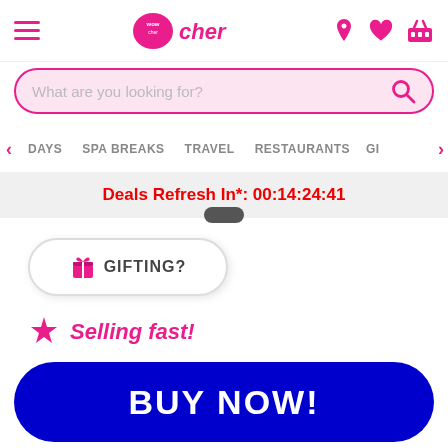Wowcher — Navigation header with hamburger menu, logo, and icons
What are you looking for?
DAYS  SPA BREAKS  TRAVEL  RESTAURANTS  GI
Deals Refresh In*: 00:14:24:41
GIFTING?
Selling fast!
BUY NOW!